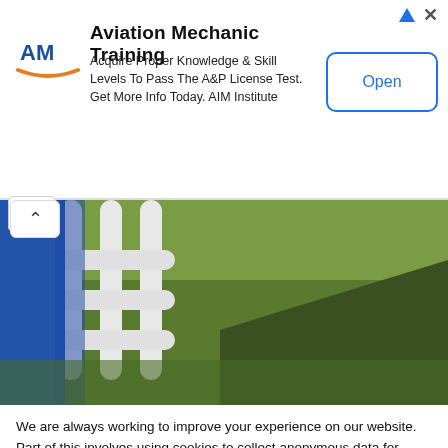[Figure (screenshot): Aviation Mechanic Training ad banner with AM logo, description text, and Open button]
[Figure (photo): Partial photo of plastic lawn chair on grass]
We are always working to improve your experience on our website. Part of this involves using cookies to collect anonymous data for statistics and personalization. We may also use your data to tailor ads for you and our partners will collect data and use cookies for ad personalisation and measurement. Further information on how we and our partners collect and use data can be found in our Privacy Statement and Cookies Policy , as well as the common used Ad Technology Providers list .